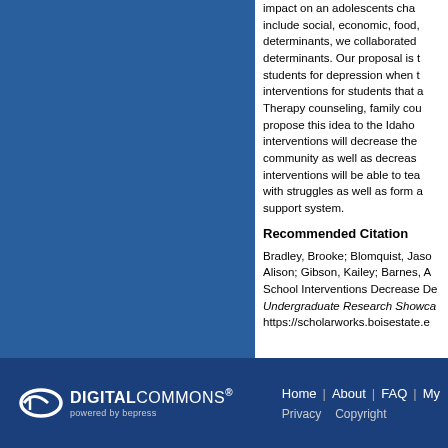impact on an adolescents cha... include social, economic, food, determinants, we collaborated determinants. Our proposal is students for depression when t interventions for students that Therapy counseling, family cou propose this idea to the Idaho interventions will decrease the community as well as decreas interventions will be able to te with struggles as well as form support system.
Recommended Citation
Bradley, Brooke; Blomquist, Jaso Alison; Gibson, Kailey; Barnes, A School Interventions Decrease De Undergraduate Research Showca https://scholarworks.boisestate.e
DIGITAL COMMONS powered by bepress | Home | About | FAQ | My | Privacy | Copyright